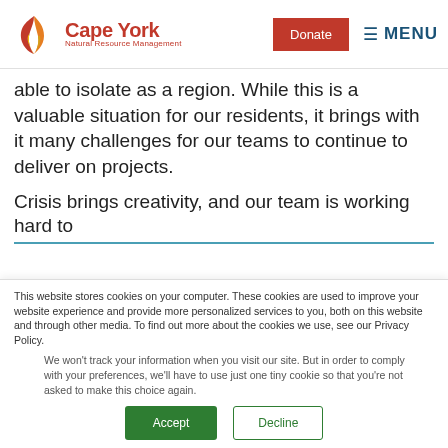[Figure (logo): Cape York Natural Resource Management logo with stylized leaf/feather icon in red, orange, and yellow, with organization name in red]
able to isolate as a region. While this is a valuable situation for our residents, it brings with it many challenges for our teams to continue to deliver on projects.
Crisis brings creativity, and our team is working hard to
This website stores cookies on your computer. These cookies are used to improve your website experience and provide more personalized services to you, both on this website and through other media. To find out more about the cookies we use, see our Privacy Policy.
We won't track your information when you visit our site. But in order to comply with your preferences, we'll have to use just one tiny cookie so that you're not asked to make this choice again.